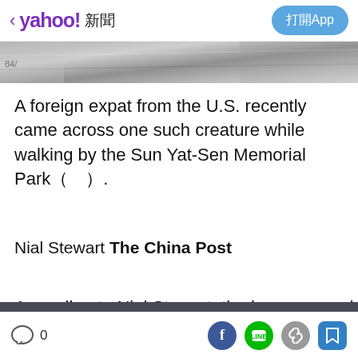< yahoo! 新聞  打開App
[Figure (photo): Partial image strip showing a blurred outdoor scene]
A foreign expat from the U.S. recently came across one such creature while walking by the Sun Yat-Sen Memorial Park（　）.
Nial Stewart The China Post
According to Nial Stewart, the...
[Figure (screenshot): Yahoo APP install banner with Yahoo app icon, text 'Yahoo APP APP' and install button]
0  [Facebook] [LINE] [link] [save]